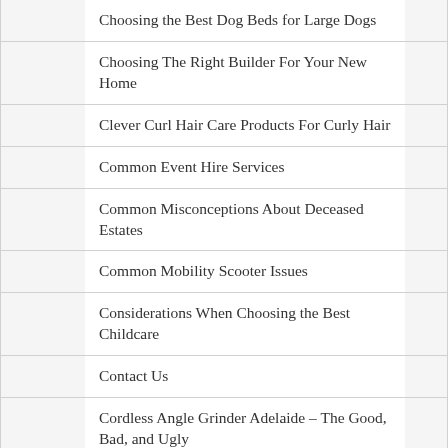Choosing the Best Dog Beds for Large Dogs
Choosing The Right Builder For Your New Home
Clever Curl Hair Care Products For Curly Hair
Common Event Hire Services
Common Misconceptions About Deceased Estates
Common Mobility Scooter Issues
Considerations When Choosing the Best Childcare
Contact Us
Cordless Angle Grinder Adelaide – The Good, Bad, and Ugly